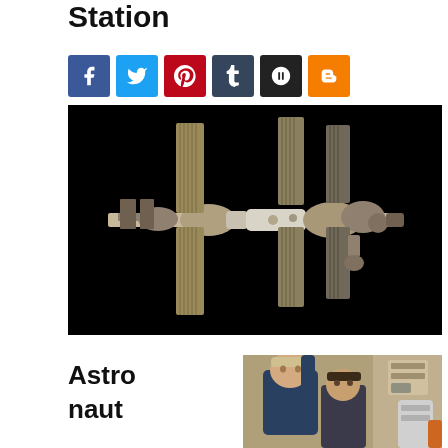Station
[Figure (illustration): Social media sharing buttons: Facebook (blue), Twitter (light blue), Pinterest (red), Tumblr (dark blue), Google+ (black), Blogger (orange)]
[Figure (photo): Aerial photograph of the International Space Station against a black space background, showing solar panels and modules]
Astronaut Bill